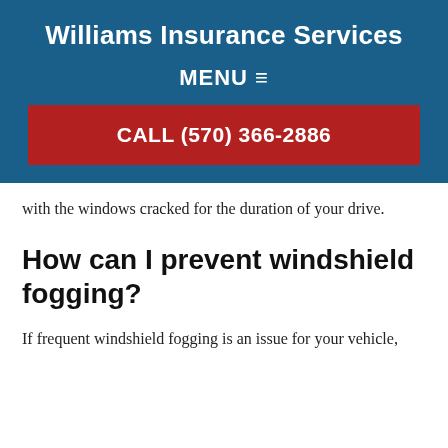Williams Insurance Services
MENU ☰
CALL (570) 366-2886
with the windows cracked for the duration of your drive.
How can I prevent windshield fogging?
If frequent windshield fogging is an issue for your vehicle,